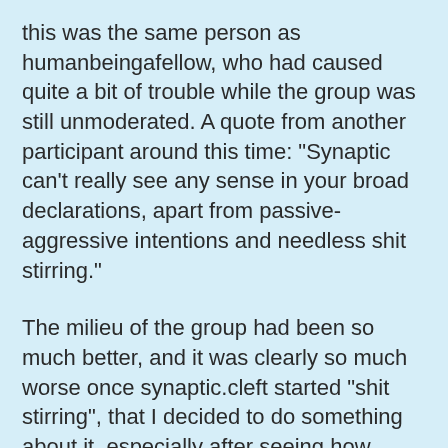this was the same person as humanbeingafellow, who had caused quite a bit of trouble while the group was still unmoderated. A quote from another participant around this time: "Synaptic can't really see any sense in your broad declarations, apart from passive-aggressive intentions and needless shit stirring."
The milieu of the group had been so much better, and it was clearly so much worse once synaptic.cleft started "shit stirring", that I decided to do something about it, especially after seeing how much better the DhO was after we the mods here took a similar course of action. I didn't one-sidedly do it, though, I posted my intentions to see what the group thought